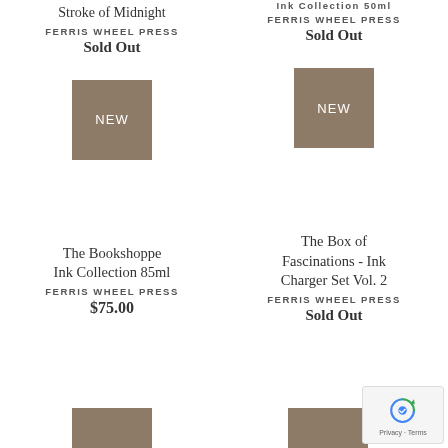Ink Collection 50ml (partial/cropped at top)
FERRIS WHEEL PRESS
Sold Out
Stroke of Midnight
FERRIS WHEEL PRESS
Sold Out
[Figure (other): NEW badge square in brown/tan color, left column]
[Figure (other): NEW badge square in brown/tan color, right column]
The Bookshoppe Ink Collection 85ml
FERRIS WHEEL PRESS
$75.00
The Box of Fascinations - Ink Charger Set Vol. 2
FERRIS WHEEL PRESS
Sold Out
[Figure (other): Partial NEW badge visible at bottom left]
[Figure (other): Partial NEW badge visible at bottom right]
[Figure (other): reCAPTCHA widget bottom right corner]